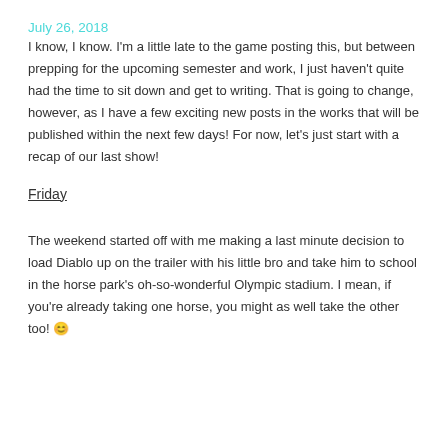July 26, 2018
I know, I know. I'm a little late to the game posting this, but between prepping for the upcoming semester and work, I just haven't quite had the time to sit down and get to writing. That is going to change, however, as I have a few exciting new posts in the works that will be published within the next few days! For now, let's just start with a recap of our last show!
Friday
The weekend started off with me making a last minute decision to load Diablo up on the trailer with his little bro and take him to school in the horse park's oh-so-wonderful Olympic stadium. I mean, if you're already taking one horse, you might as well take the other too! 😊